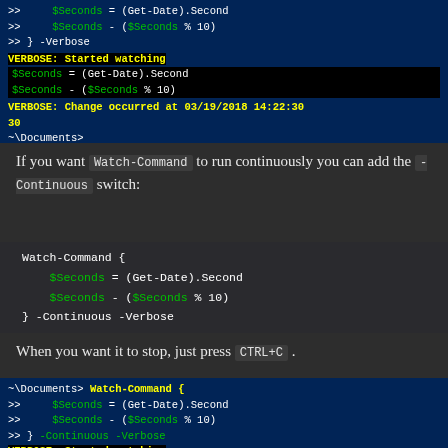[Figure (screenshot): PowerShell terminal output showing VERBOSE messages about watching $Seconds variable, change occurred at 03/19/2018 14:22:30, value 30, prompt ~\Documents>]
If you want Watch-Command to run continuously you can add the -Continuous switch:
[Figure (screenshot): Code block showing Watch-Command { $Seconds = (Get-Date).Second $Seconds - ($Seconds % 10) } -Continuous -Verbose]
When you want it to stop, just press CTRL+C .
[Figure (screenshot): PowerShell terminal showing ~\Documents> Watch-Command { >> $Seconds = (Get-Date).Second >> $Seconds - ($Seconds % 10) >> } -Continuous -Verbose VERBOSE: Started watching $Seconds = (Get-Date).Second]